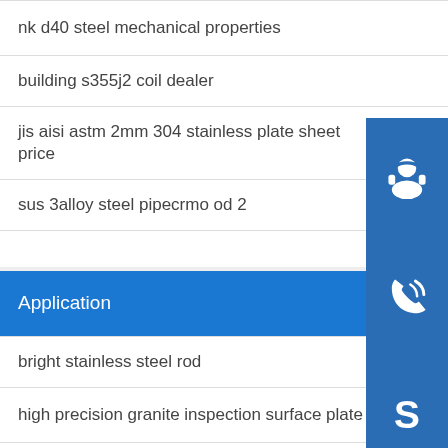nk d40 steel mechanical properties
building s355j2 coil dealer
jis aisi astm 2mm 304 stainless plate sheet price
sus 3alloy steel pipecrmo od 2
Application
bright stainless steel rod
high precision granite inspection surface plate supplier
chromium carbide wear resistant steel plate supplier